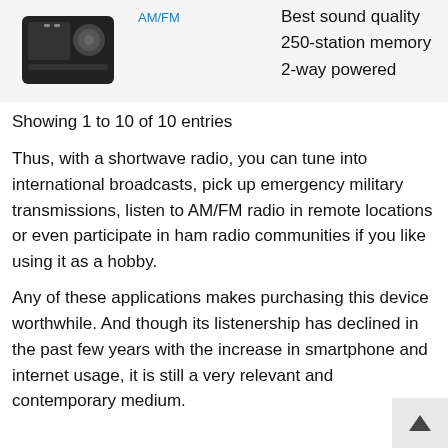[Figure (photo): Product image of a shortwave/AM-FM radio device shown in top-left corner against a light gray background]
AM/FM
Best sound quality
250-station memory
2-way powered
Showing 1 to 10 of 10 entries
Thus, with a shortwave radio, you can tune into international broadcasts, pick up emergency military transmissions, listen to AM/FM radio in remote locations or even participate in ham radio communities if you like using it as a hobby.
Any of these applications makes purchasing this device worthwhile. And though its listenership has declined in the past few years with the increase in smartphone and internet usage, it is still a very relevant and contemporary medium.